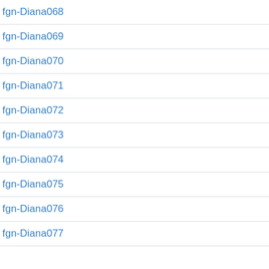fgn-Diana068
fgn-Diana069
fgn-Diana070
fgn-Diana071
fgn-Diana072
fgn-Diana073
fgn-Diana074
fgn-Diana075
fgn-Diana076
fgn-Diana077